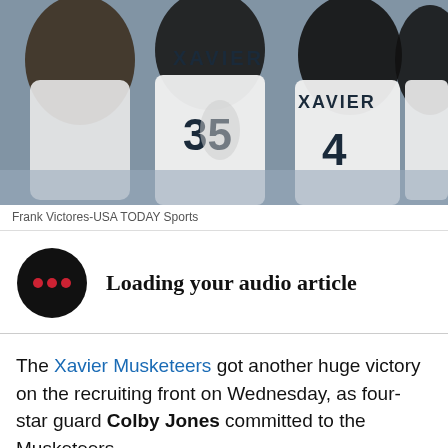[Figure (photo): Xavier Musketeers basketball players in white jerseys numbered 35 and 4 celebrating together on court]
Frank Victores-USA TODAY Sports
Loading your audio article
The Xavier Musketeers got another huge victory on the recruiting front on Wednesday, as four-star guard Colby Jones committed to the Musketeers.